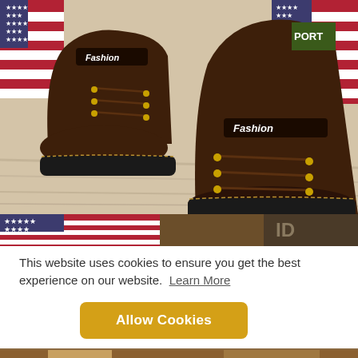[Figure (photo): Product photo of two brown leather children's fashion boots with gold eyelets and 'Fashion' label on the ankle strap, displayed on a light wood floor with an American flag background]
[Figure (photo): Partial strip photo showing American flag and wooden background, a cropped portion of a shoe product image]
This website uses cookies to ensure you get the best experience on our website.  Learn More
Allow Cookies
[Figure (photo): Bottom strip showing partial view of another shoe product in brown/tan color]